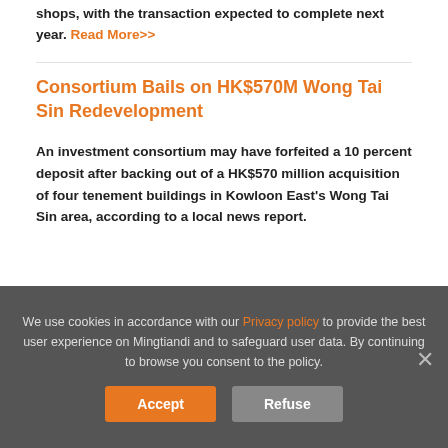shops, with the transaction expected to complete next year. Read More>>
Consortium Bails on HK$570M Wong Tai Sin Redevelopment
An investment consortium may have forfeited a 10 percent deposit after backing out of a HK$570 million acquisition of four tenement buildings in Kowloon East's Wong Tai Sin area, according to a local news report.
We use cookies in accordance with our Privacy policy to provide the best user experience on Mingtiandi and to safeguard user data. By continuing to browse you consent to the policy.